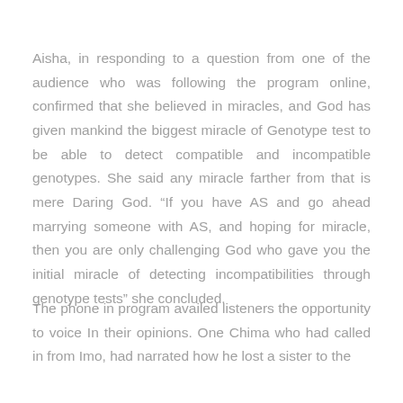Aisha, in responding to a question from one of the audience who was following the program online, confirmed that she believed in miracles, and God has given mankind the biggest miracle of Genotype test to be able to detect compatible and incompatible genotypes. She said any miracle farther from that is mere Daring God. “If you have AS and go ahead marrying someone with AS, and hoping for miracle, then you are only challenging God who gave you the initial miracle of detecting incompatibilities through genotype tests” she concluded.
The phone in program availed listeners the opportunity to voice In their opinions. One Chima who had called in from Imo, had narrated how he lost a sister to the